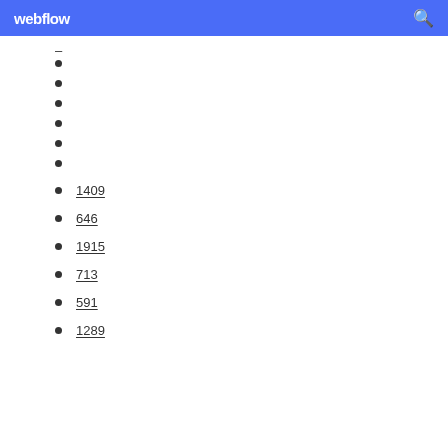webflow
1409
646
1915
713
591
1289